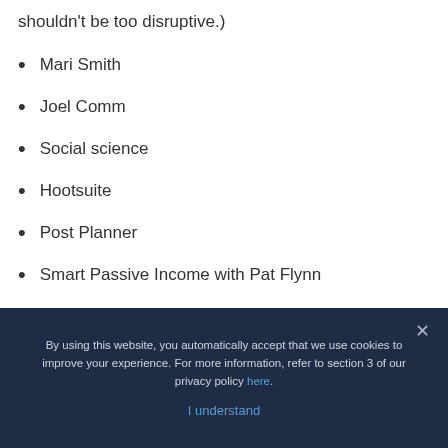shouldn't be too disruptive.)
Mari Smith
Joel Comm
Social science
Hootsuite
Post Planner
Smart Passive Income with Pat Flynn
By using this website, you automatically accept that we use cookies to improve your experience. For more information, refer to section 3 of our privacy policy here.
I understand